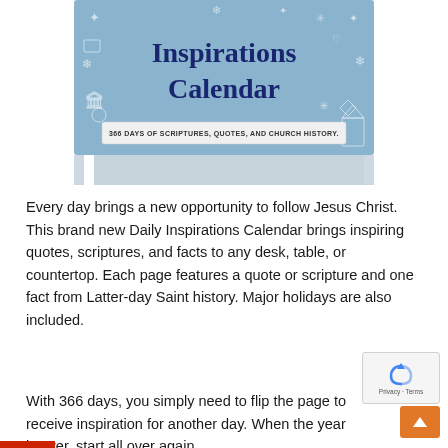[Figure (photo): Book/calendar product image showing a Daily Inspirations Calendar with a light blue cover featuring white doodle illustrations (stars, buildings, fruit, etc.) and dark navy bold title text reading 'Inspirations Calendar' with a subtitle banner reading '366 DAYS OF SCRIPTURES, QUOTES, AND CHURCH HISTORY.' The bottom shows a grey spine/stand portion.]
Every day brings a new opportunity to follow Jesus Christ. This brand new Daily Inspirations Calendar brings inspiring quotes, scriptures, and facts to any desk, table, or countertop. Each page features a quote or scripture and one fact from Latter-day Saint history. Major holidays are also included.
With 366 days, you simply need to flip the page to receive inspiration for another day. When the year is over, start all over again.